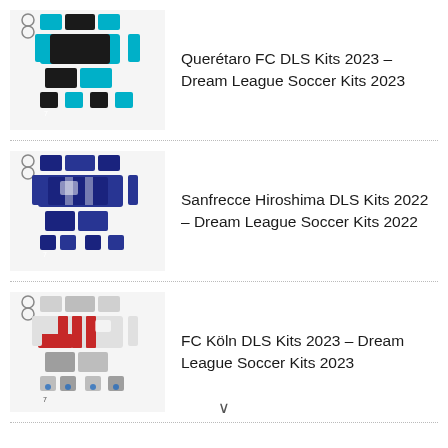Querétaro FC DLS Kits 2023 – Dream League Soccer Kits 2023
Sanfrecce Hiroshima DLS Kits 2022 – Dream League Soccer Kits 2022
FC Köln DLS Kits 2023 – Dream League Soccer Kits 2023